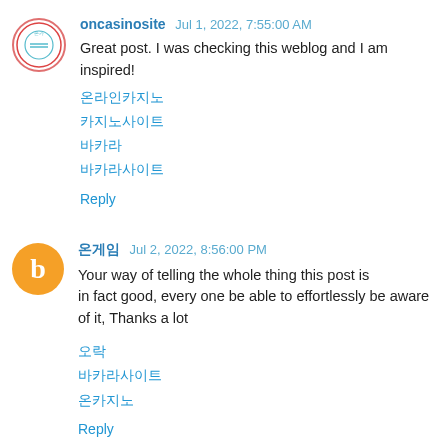oncasinosite  Jul 1, 2022, 7:55:00 AM
Great post. I was checking this weblog and I am inspired!
온라인카지노
카지노사이트
바카라
바카라사이트
Reply
온게임  Jul 2, 2022, 8:56:00 PM
Your way of telling the whole thing this post is in fact good, every one be able to effortlessly be aware of it, Thanks a lot

오락
바카라사이트
온카지노
Reply
온카지  Jul 2, 2022, 9:58:00 PM